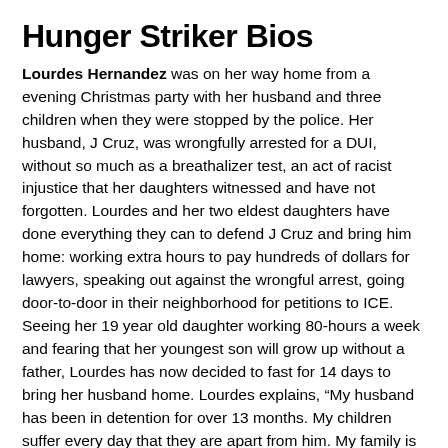Hunger Striker Bios
Lourdes Hernandez was on her way home from a evening Christmas party with her husband and three children when they were stopped by the police. Her husband, J Cruz, was wrongfully arrested for a DUI, without so much as a breathalizer test, an act of racist injustice that her daughters witnessed and have not forgotten. Lourdes and her two eldest daughters have done everything they can to defend J Cruz and bring him home: working extra hours to pay hundreds of dollars for lawyers, speaking out against the wrongful arrest, going door-to-door in their neighborhood for petitions to ICE. Seeing her 19 year old daughter working 80-hours a week and fearing that her youngest son will grow up without a father, Lourdes has now decided to fast for 14 days to bring her husband home. Lourdes explains, “My husband has been in detention for over 13 months. My children suffer every day that they are apart from him. My family is not complete without him, I need him home now. I am fasting so that everyone knows that I will put my body on the line to keep my family together.”